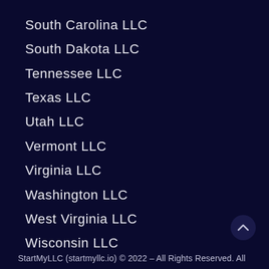South Carolina LLC
South Dakota LLC
Tennessee LLC
Texas LLC
Utah LLC
Vermont LLC
Virginia LLC
Washington LLC
West Virginia LLC
Wisconsin LLC
Wyoming LLC
StartMyLLC (startmyllc.io) © 2022 – All Rights Reserved. All